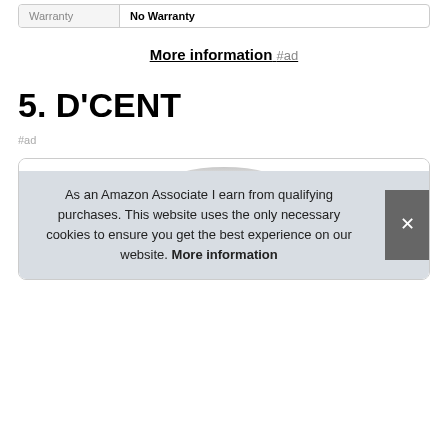| Warranty | No Warranty |
| --- | --- |
| Warranty | No Warranty |
More information #ad
5. D'CENT
#ad
[Figure (photo): Product photo of D'CENT device - cylindrical black device with metallic top]
As an Amazon Associate I earn from qualifying purchases. This website uses the only necessary cookies to ensure you get the best experience on our website. More information